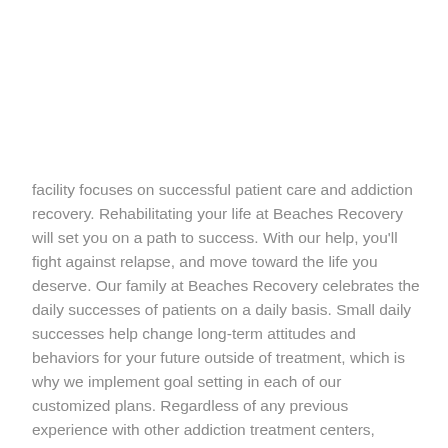facility focuses on successful patient care and addiction recovery. Rehabilitating your life at Beaches Recovery will set you on a path to success. With our help, you'll fight against relapse, and move toward the life you deserve. Our family at Beaches Recovery celebrates the daily successes of patients on a daily basis. Small daily successes help change long-term attitudes and behaviors for your future outside of treatment, which is why we implement goal setting in each of our customized plans. Regardless of any previous experience with other addiction treatment centers, please call today to speak to our staff about how Beaches Recovery can help you gain back your sobriety, and live a fully rehabilitated life.